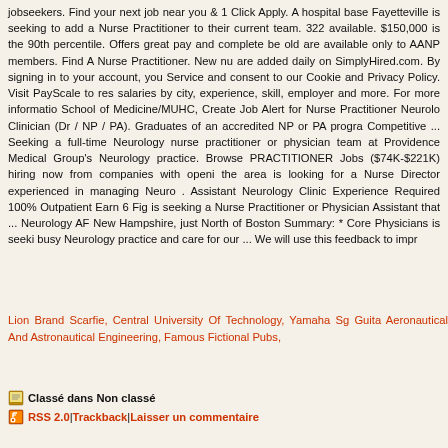jobseekers. Find your next job near you & 1 Click Apply. A hospital base Fayetteville is seeking to add a Nurse Practitioner to their current team. 322 available. $150,000 is the 90th percentile. Offers great pay and complete be old are available only to AANP members. Find A Nurse Practitioner. New nu are added daily on SimplyHired.com. By signing in to your account, you Service and consent to our Cookie and Privacy Policy. Visit PayScale to res salaries by city, experience, skill, employer and more. For more informatio School of Medicine/MUHC, Create Job Alert for Nurse Practitioner Neurolo Clinician (Dr / NP / PA). Graduates of an accredited NP or PA progra Competitive ... Seeking a full-time Neurology nurse practitioner or physician team at Providence Medical Group's Neurology practice. Browse PRACTITIONER Jobs ($74K-$221K) hiring now from companies with openi the area is looking for a Nurse Director experienced in managing Neuro . Assistant Neurology Clinic Experience Required 100% Outpatient Earn 6 Fig is seeking a Nurse Practitioner or Physician Assistant that ... Neurology AF New Hampshire, just North of Boston Summary: * Core Physicians is seeki busy Neurology practice and care for our ... We will use this feedback to impr
Lion Brand Scarfie, Central University Of Technology, Yamaha Sg Guita Aeronautical And Astronautical Engineering, Famous Fictional Pubs,
Classé dans Non classé
RSS 2.0 | Trackback | Laisser un commentaire